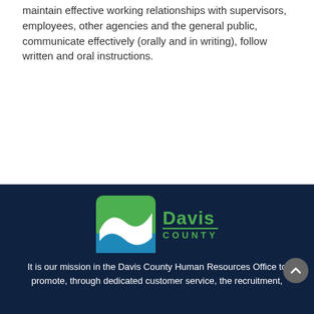maintain effective working relationships with supervisors, employees, other agencies and the general public, communicate effectively (orally and in writing), follow written and oral instructions.
[Figure (other): Apply Now button with play icon, light blue rounded border]
[Figure (logo): Davis County logo: green square with white wave graphic and blue band, next to green 'Davis' text with blue 'COUNTY' underlined text]
It is our mission in the Davis County Human Resources Office to promote, through dedicated customer service, the recruitment,